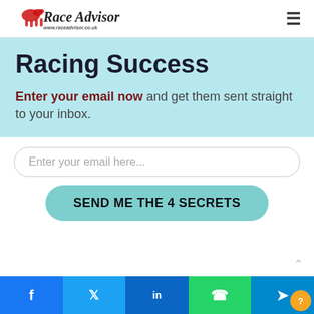Race Advisor www.raceadvisor.co.uk
Racing Success
Enter your email now and get them sent straight to your inbox.
Enter your email here...
SEND ME THE 4 SECRETS
Facebook Twitter LinkedIn WhatsApp Telegram